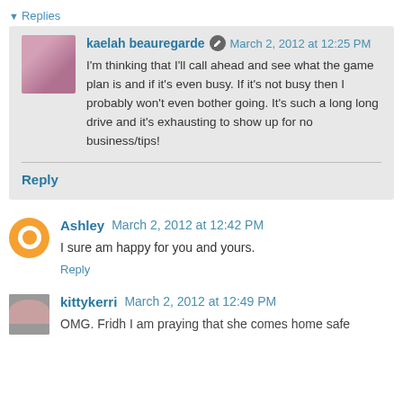Replies
kaelah beauregarde  March 2, 2012 at 12:25 PM
I'm thinking that I'll call ahead and see what the game plan is and if it's even busy. If it's not busy then I probably won't even bother going. It's such a long long drive and it's exhausting to show up for no business/tips!
Reply
Ashley  March 2, 2012 at 12:42 PM
I sure am happy for you and yours.
Reply
kittykerri  March 2, 2012 at 12:49 PM
OMG. Fridh I am praying that she comes home safe